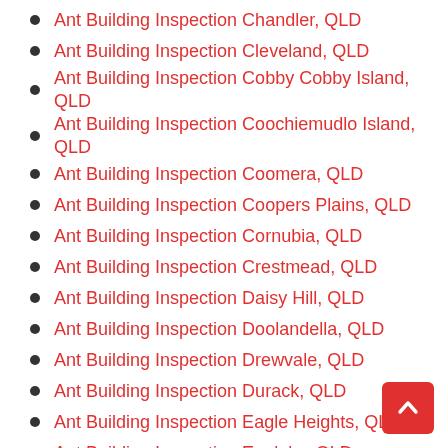Ant Building Inspection Chandler, QLD
Ant Building Inspection Cleveland, QLD
Ant Building Inspection Cobby Cobby Island, QLD
Ant Building Inspection Coochiemudlo Island, QLD
Ant Building Inspection Coomera, QLD
Ant Building Inspection Coopers Plains, QLD
Ant Building Inspection Cornubia, QLD
Ant Building Inspection Crestmead, QLD
Ant Building Inspection Daisy Hill, QLD
Ant Building Inspection Doolandella, QLD
Ant Building Inspection Drewvale, QLD
Ant Building Inspection Durack, QLD
Ant Building Inspection Eagle Heights, QLD
Ant Building Inspection Eagleby, QLD